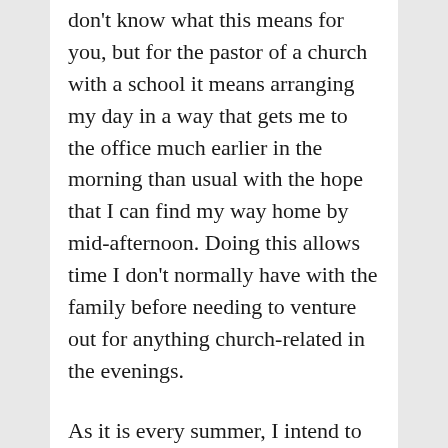don't know what this means for you, but for the pastor of a church with a school it means arranging my day in a way that gets me to the office much earlier in the morning than usual with the hope that I can find my way home by mid-afternoon. Doing this allows time I don't normally have with the family before needing to venture out for anything church-related in the evenings.
As it is every summer, I intend to use a portion of the morning's quiet time